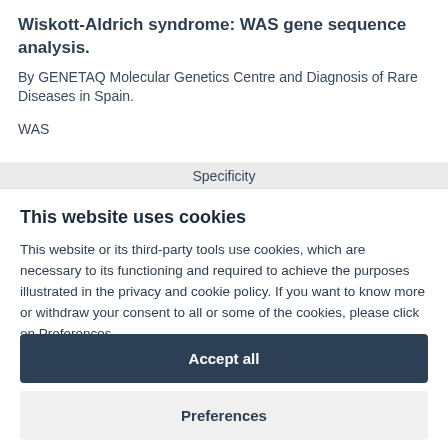Wiskott-Aldrich syndrome: WAS gene sequence analysis.
By GENETAQ Molecular Genetics Centre and Diagnosis of Rare Diseases in Spain.
WAS
Specificity
This website uses cookies
This website or its third-party tools use cookies, which are necessary to its functioning and required to achieve the purposes illustrated in the privacy and cookie policy. If you want to know more or withdraw your consent to all or some of the cookies, please click on Preferences.
Accept all
Preferences